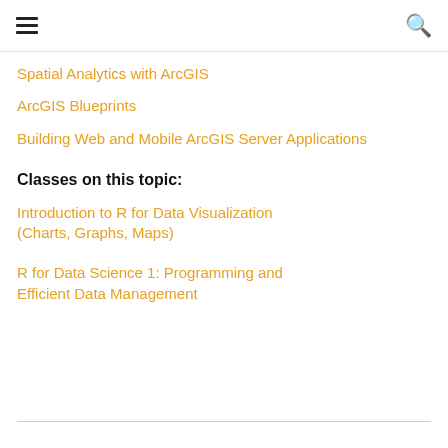☰   🔍
Spatial Analytics with ArcGIS
ArcGIS Blueprints
Building Web and Mobile ArcGIS Server Applications
Classes on this topic:
Introduction to R for Data Visualization (Charts, Graphs, Maps)
R for Data Science 1: Programming and Efficient Data Management